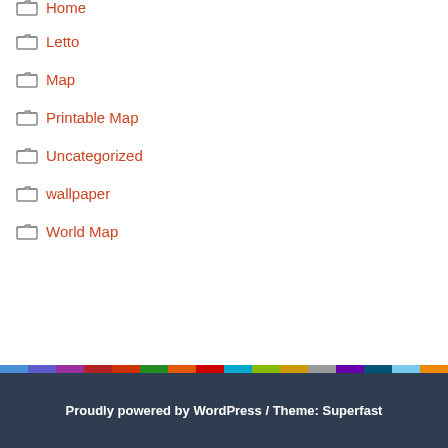Home
Letto
Map
Printable Map
Uncategorized
wallpaper
World Map
Proudly powered by WordPress / Theme: Superfast